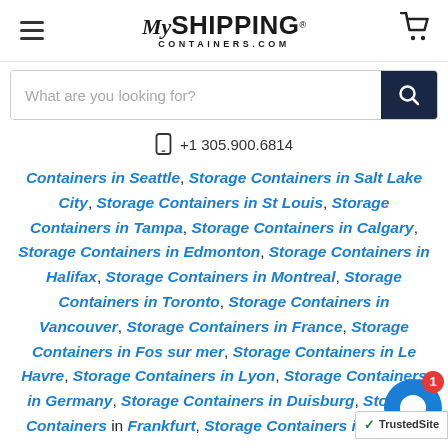MyShippingContainers.com
What are you looking for?
+1 305.900.6814
Containers in Seattle, Storage Containers in Salt Lake City, Storage Containers in St Louis, Storage Containers in Tampa, Storage Containers in Calgary, Storage Containers in Edmonton, Storage Containers in Halifax, Storage Containers in Montreal, Storage Containers in Toronto, Storage Containers in Vancouver, Storage Containers in France, Storage Containers in Fos sur mer, Storage Containers in Le Havre, Storage Containers in Lyon, Storage Containers in Germany, Storage Containers in Duisburg, Storage Containers in Frankfurt, Storage Containers in Hamburg